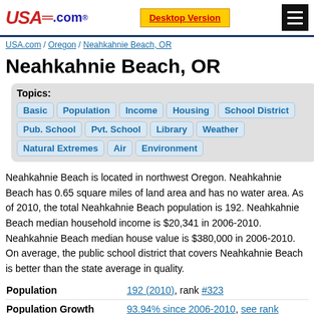USA.com — Desktop Version — Menu
USA.com / Oregon / Neahkahnie Beach, OR
Neahkahnie Beach, OR
Topics: Basic Population Income Housing School District Pub. School Pvt. School Library Weather Natural Extremes Air Environment
Neahkahnie Beach is located in northwest Oregon. Neahkahnie Beach has 0.65 square miles of land area and has no water area. As of 2010, the total Neahkahnie Beach population is 192. Neahkahnie Beach median household income is $20,341 in 2006-2010. Neahkahnie Beach median house value is $380,000 in 2006-2010. On average, the public school district that covers Neahkahnie Beach is better than the state average in quality.
| Metric | Value |
| --- | --- |
| Population | 192 (2010), rank #323 |
| Population Growth | 93.94% since 2006-2010, see rank |
| Population Density: | 294.01/sq mi, rank #276 |